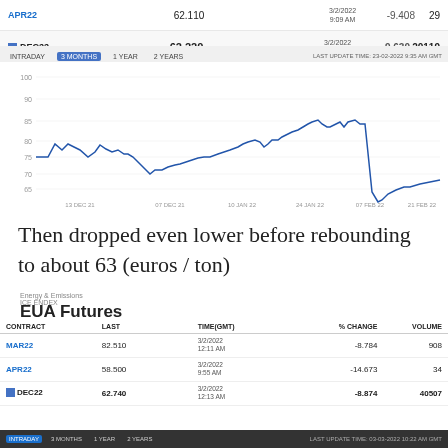| CONTRACT | LAST | TIME(GMT) | % CHANGE | VOLUME |
| --- | --- | --- | --- | --- |
| APR22 | 62.110 | 3/2/2022
9:09 AM | -9.408 | 29 |
| DEC22 | 62.220 | 3/2/2022
9:15 AM | -9.630 | 20119 |
[Figure (line-chart): Line chart showing DEC22 EUA futures price over 3 months from Dec 2021 to Feb 2022. Price started around 75-78, rose to peaks near 92-96 in Feb 2022, then dropped sharply to about 63.]
Then dropped even lower before rebounding to about 63 (euros / ton)
Energy & Emissions
ICE ENDEX
EUA Futures
| CONTRACT | LAST | TIME(GMT) | % CHANGE | VOLUME |
| --- | --- | --- | --- | --- |
| MAR22 | 82.510 | 3/2/2022
12:11 AM | -8.784 | 908 |
| APR22 | 58.500 | 3/2/2022
9:55 AM | -14.673 | 34 |
| DEC22 | 62.740 | 3/2/2022
12:13 AM | -8.874 | 40507 |